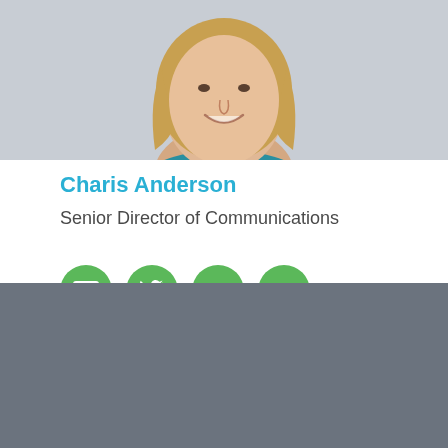[Figure (photo): Headshot of a smiling woman with long blonde hair and a teal top, against a light grey background]
Charis Anderson
Senior Director of Communications
[Figure (infographic): Four green circular icon buttons: email envelope, Twitter bird, BLOG, BIO]
Subscribe to Our Newsletter
Email Address
SUBSCRIBE →